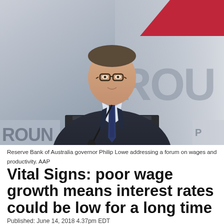[Figure (photo): Reserve Bank of Australia governor Philip Lowe speaking at a podium with a microphone, wearing a dark suit and tie, with a banner reading 'ROUN' visible in the background.]
Reserve Bank of Australia governor Philip Lowe addressing a forum on wages and productivity. AAP
Vital Signs: poor wage growth means interest rates could be low for a long time
Published: June 14, 2018 4.37pm EDT